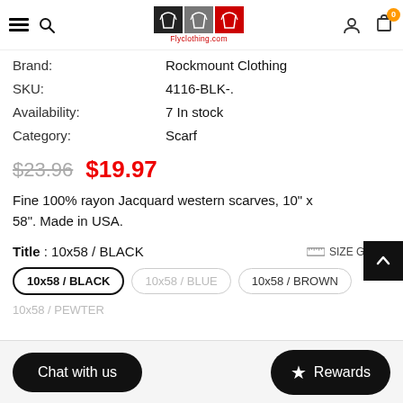Flyclothing.com navigation header
Brand: Rockmount Clothing
SKU: 4116-BLK-.
Availability: 7 In stock
Category: Scarf
$23.96  $19.97
Fine 100% rayon Jacquard western scarves, 10" x 58". Made in USA.
Title : 10x58 / BLACK   SIZE GUIDE
10x58 / BLACK
10x58 / BLUE
10x58 / BROWN
10x58 / PEWTER